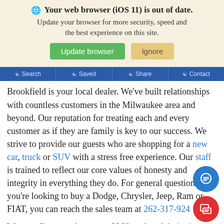[Figure (screenshot): Browser update notification banner with globe icon, bold title 'Your web browser (iOS 11) is out of date.', subtitle text, and two buttons: green 'Update browser' and tan 'Ignore']
Search | Saved | Share | Contact
Brookfield is your local dealer. We've built relationships with countless customers in the Milwaukee area and beyond. Our reputation for treating each and every customer as if they are family is key to our success. We strive to provide our guests who are shopping for a new car, truck or SUV with a stress free experience. Our staff is trained to reflect our core values of honesty and integrity in everything they do. For general questions or if you're looking to buy a Dodge, Chrysler, Jeep, Ram or FIAT, you can reach the sales team at 262-317-9242
We proudly serve the areas of Milwaukee, Waukesha, Brookfield, Menomonee Falls and